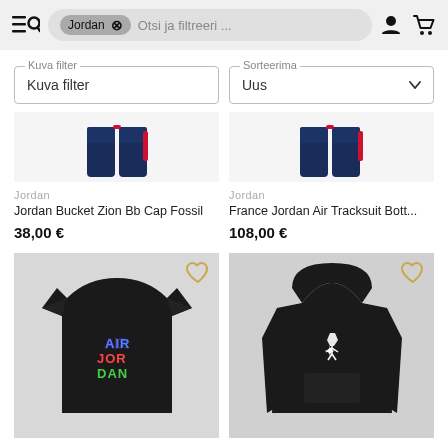Jordan × Otsi ja filtreeri ...
Kuva filter
Sorteerima: Uus
Jordan
Jordan Bucket Zion Bb Cap Fossil
38,00 €
Jordan
France Jordan Air Tracksuit Bott...
108,00 €
[Figure (photo): Black Air Jordan t-shirt with colorful AIR JORDAN text]
[Figure (photo): Black Jordan hoodie with white jumpman logo]